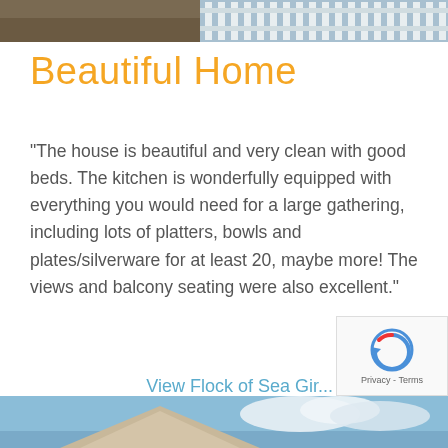[Figure (photo): Partial view of an outdoor area with a white fence/railing and ground, cropped at top of page]
Beautiful Home
"The house is beautiful and very clean with good beds. The kitchen is wonderfully equipped with everything you would need for a large gathering, including lots of platters, bowls and plates/silverware for at least 20, maybe more! The views and balcony seating were also excellent."
View Flock of Sea Gir...
[Figure (photo): Partial view of a house exterior with blue sky and clouds, cropped at bottom of page]